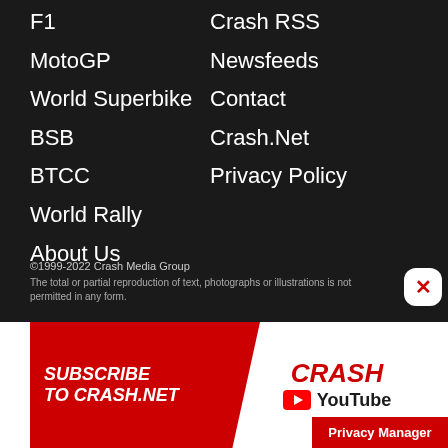F1
MotoGP
World Superbike
BSB
BTCC
World Rally
About Us
Crash RSS
Newsfeeds
Contact
Crash.Net
Privacy Policy
©1999-2022 Crash Media Group
The total or partial reproduction of text, photographs or illustrations is not permitted in any form.
[Figure (screenshot): Advertisement banner for Crash.Net YouTube channel with red background, text SUBSCRIBE TO CRASH.NET and CRASH YouTube logo]